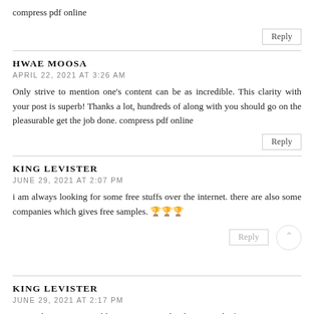compress pdf online
Reply
HWAE MOOSA
APRIL 22, 2021 AT 3:26 AM
Only strive to mention one's content can be as incredible. This clarity with your post is superb! Thanks a lot, hundreds of along with you should go on the pleasurable get the job done. compress pdf online
Reply
KING LEVISTER
JUNE 29, 2021 AT 2:07 PM
i am always looking for some free stuffs over the internet. there are also some companies which gives free samples. 🏆🏆🏆
Reply
KING LEVISTER
JUNE 29, 2021 AT 2:17 PM
Nice to be visiting your blog once more, it has been months for me.